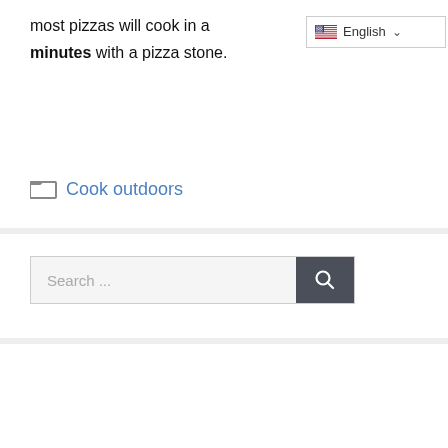most pizzas will cook in a [English] minutes with a pizza stone.
Cook outdoors
[Figure (screenshot): Search bar with text 'Search ...' and a dark search button with magnifying glass icon]